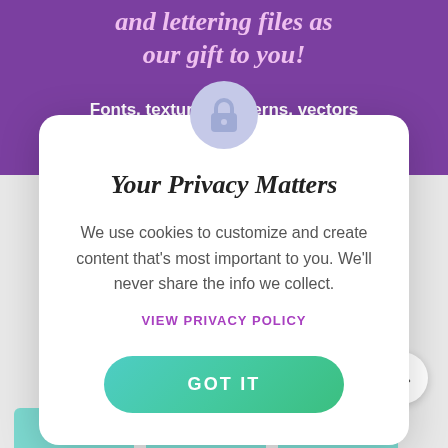and lettering files as our gift to you!
Fonts, textures, patterns, vectors
Your Privacy Matters
We use cookies to customize and create content that's most important to you. We'll never share the info we collect.
VIEW PRIVACY POLICY
GOT IT